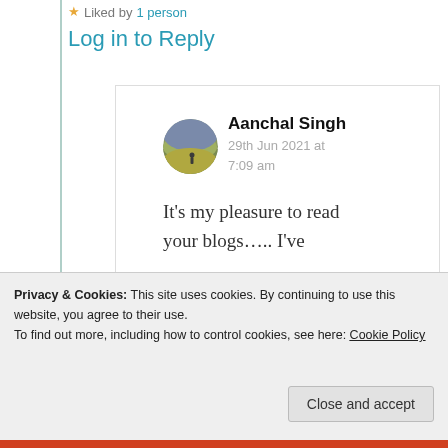Liked by 1 person
Log in to Reply
Aanchal Singh
29th Jun 2021 at 7:09 am
It's my pleasure to read your blogs….. I've
Privacy & Cookies: This site uses cookies. By continuing to use this website, you agree to their use.
To find out more, including how to control cookies, see here: Cookie Policy
Close and accept